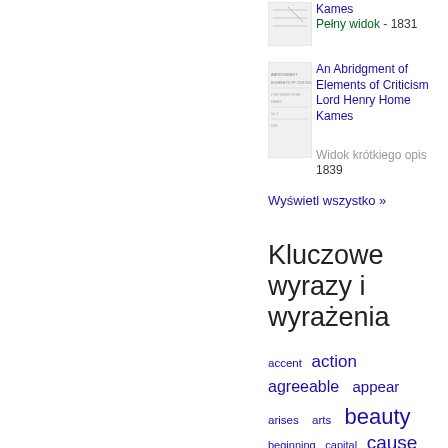[Figure (other): Thumbnail image of a book cover (small, faint)]
Kames
Pełny widok - 1831
[Figure (other): Thumbnail image of 'An Abridgment of Elements of Criticism' book cover]
An Abridgment of Elements of Criticism
Lord Henry Home Kames
Widok krótkiego opis
1839
Wyświetl wszystko »
Kluczowe wyrazy i wyrażenia
accent
action
agreeable
appear
arises
arts
beauty
beginning
capital
cause
CHAPTER
character